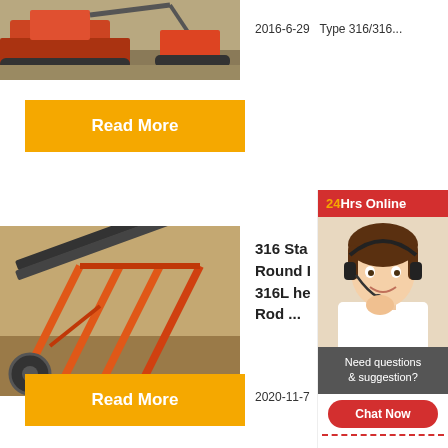[Figure (photo): Mining/quarrying machinery with bulldozer and vehicles on dusty terrain]
2016-6-29    Type 316/316...
Read More
[Figure (photo): Industrial mining conveyor belt structure with orange metal framework]
316 Sta Round 316L he Rod ...
2020-11-7
Read More
24Hrs Online
[Figure (photo): Customer service agent woman with headset smiling]
Need questions & suggestion?
Chat Now
Enquiry
limingjlmofen